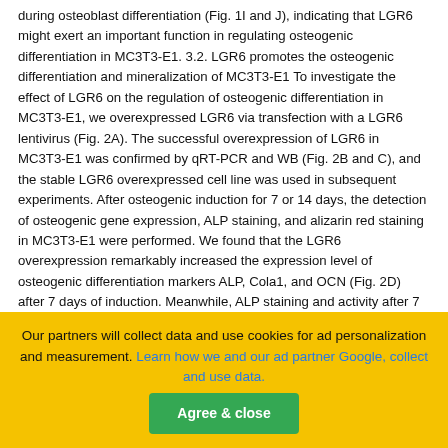during osteoblast differentiation (Fig. 1I and J), indicating that LGR6 might exert an important function in regulating osteogenic differentiation in MC3T3-E1. 3.2. LGR6 promotes the osteogenic differentiation and mineralization of MC3T3-E1 To investigate the effect of LGR6 on the regulation of osteogenic differentiation in MC3T3-E1, we overexpressed LGR6 via transfection with a LGR6 lentivirus (Fig. 2A). The successful overexpression of LGR6 in MC3T3-E1 was confirmed by qRT-PCR and WB (Fig. 2B and C), and the stable LGR6 overexpressed cell line was used in subsequent experiments. After osteogenic induction for 7 or 14 days, the detection of osteogenic gene expression, ALP staining, and alizarin red staining in MC3T3-E1 were performed. We found that the LGR6 overexpression remarkably increased the expression level of osteogenic differentiation markers ALP, Cola1, and OCN (Fig. 2D) after 7 days of induction. Meanwhile, ALP staining and activity after 7 days of induction showed that the LGR6 overexpression enhanced the early osteoblastic differentiation of MC3T3-E1 cells (Fig. 2EeG). Alizarin red staining after 14 days of induction revealed that the LGR6 overexpression accelerated the
Our partners will collect data and use cookies for ad personalization and measurement. Learn how we and our ad partner Google, collect and use data.